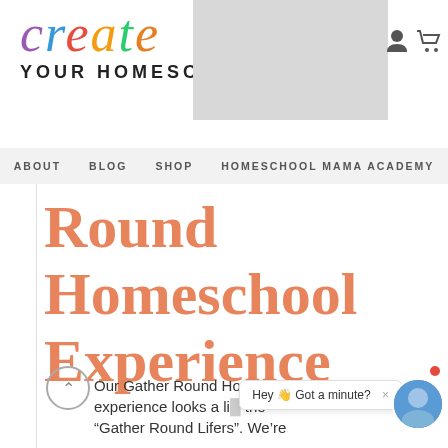[Figure (logo): Create Your Homeschool logo with colorful script 'create' text and bold subtitle 'YOUR HOMESCHOOL']
ABOUT   BLOG   SHOP   HOMESCHOOL MAMA ACADEMY
Round Homeschool Experience
Our Gather Round Homeschool experience looks a li... the "Gather Round Lifers". We're